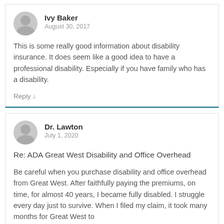Ivy Baker
August 30, 2017
This is some really good information about disability insurance. It does seem like a good idea to have a professional disability. Especially if you have family who has a disability.
Reply ↓
Dr. Lawton
July 1, 2020
Re: ADA Great West Disability and Office Overhead
Be careful when you purchase disability and office overhead from Great West. After faithfully paying the premiums, on time, for almost 40 years, I became fully disabled. I struggle every day just to survive. When I filed my claim, it took many months for Great West to